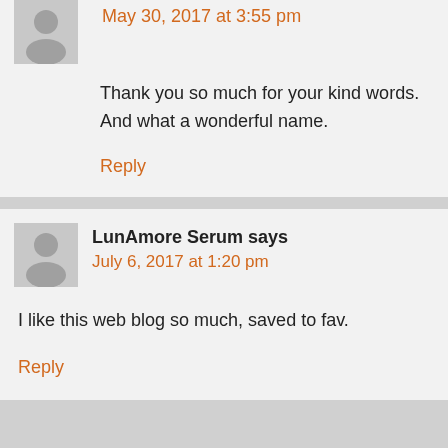May 30, 2017 at 3:55 pm
Thank you so much for your kind words.
And what a wonderful name.
Reply
LunAmore Serum says
July 6, 2017 at 1:20 pm
I like this web blog so much, saved to fav.
Reply